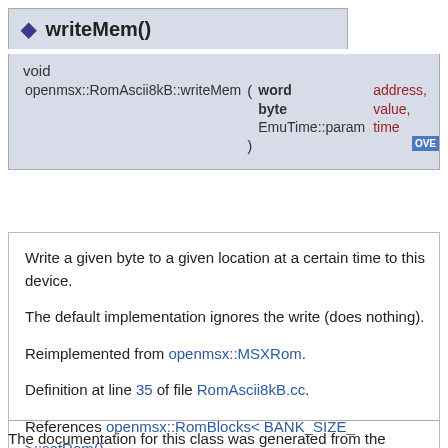◆ writeMem()
void
openmsx::RomAscii8kB::writeMem ( word address, byte value, EmuTime::param time )
Write a given byte to a given location at a certain time to this device.
The default implementation ignores the write (does nothing).
Reimplemented from openmsx::MSXRom.
Definition at line 35 of file RomAscii8kB.cc.
References openmsx::RomBlocks< BANK_SIZE_ >::setRom().
The documentation for this class was generated from the following files: